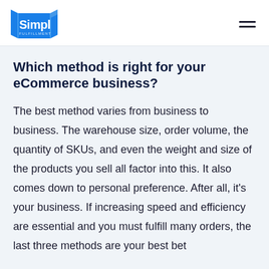[Figure (logo): Simpl Fulfillment logo — blue box graphic with 'Simpl FULFILLMENT' text in white]
Which method is right for your eCommerce business?
The best method varies from business to business. The warehouse size, order volume, the quantity of SKUs, and even the weight and size of the products you sell all factor into this. It also comes down to personal preference. After all, it's your business. If increasing speed and efficiency are essential and you must fulfill many orders, the last three methods are your best bet